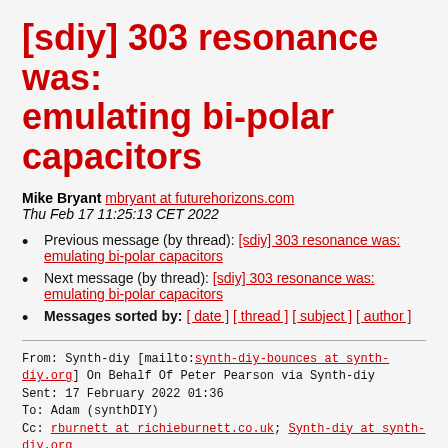[sdiy] 303 resonance was: emulating bi-polar capacitors
Mike Bryant mbryant at futurehorizons.com
Thu Feb 17 11:25:13 CET 2022
Previous message (by thread): [sdiy] 303 resonance was: emulating bi-polar capacitors
Next message (by thread): [sdiy] 303 resonance was: emulating bi-polar capacitors
Messages sorted by: [ date ] [ thread ] [ subject ] [ author ]
From: Synth-diy [mailto:synth-diy-bounces at synth-diy.org] On Behalf Of Peter Pearson via Synth-diy
Sent: 17 February 2022 01:36
To: Adam (synthDIY)
Cc: rburnett at richieburnett.co.uk; Synth-diy at synth-diy.org
Subject: Re: [sdiy] 303 resonance was: emulating bi-